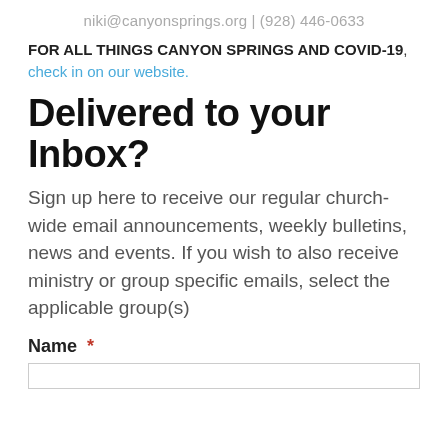niki@canyonsprings.org | (928) 446-0633
FOR ALL THINGS CANYON SPRINGS AND COVID-19, check in on our website.
Delivered to your Inbox?
Sign up here to receive our regular church-wide email announcements, weekly bulletins, news and events. If you wish to also receive ministry or group specific emails, select the applicable group(s)
Name *